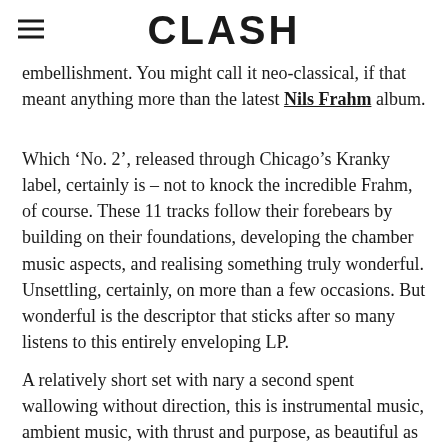CLASH
embellishment. You might call it neo-classical, if that meant anything more than the latest Nils Frahm album.
Which ‘No. 2’, released through Chicago’s Kranky label, certainly is – not to knock the incredible Frahm, of course. These 11 tracks follow their forebears by building on their foundations, developing the chamber music aspects, and realising something truly wonderful. Unsettling, certainly, on more than a few occasions. But wonderful is the descriptor that sticks after so many listens to this entirely enveloping LP.
A relatively short set with nary a second spent wallowing without direction, this is instrumental music, ambient music, with thrust and purpose, as beautiful as the colours dancing over tired eyes on a prolonged train ride, their owner lost in these moments. It can creep out the listener, too – ‘Brain